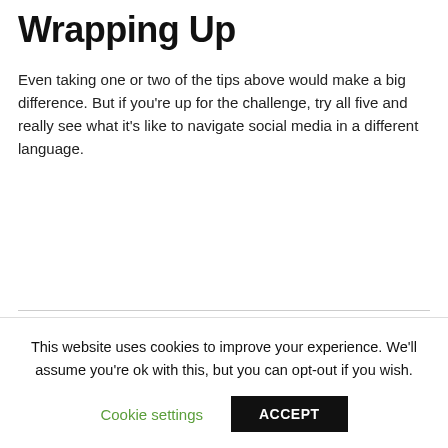Wrapping Up
Even taking one or two of the tips above would make a big difference. But if you're up for the challenge, try all five and really see what it's like to navigate social media in a different language.
This website uses cookies to improve your experience. We'll assume you're ok with this, but you can opt-out if you wish.